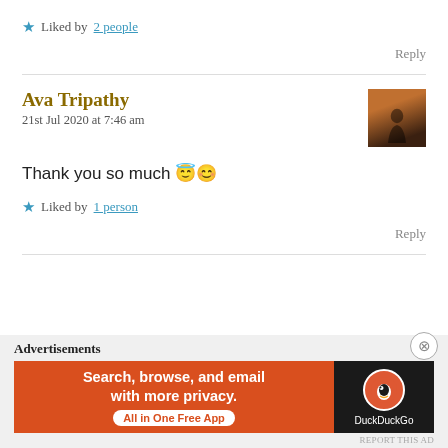★ Liked by 2 people
Reply
Ava Tripathy
21st Jul 2020 at 7:46 am
Thank you so much 😇😊
★ Liked by 1 person
Reply
Advertisements
[Figure (screenshot): DuckDuckGo advertisement banner: orange background with text 'Search, browse, and email with more privacy. All in One Free App' and DuckDuckGo logo on dark background]